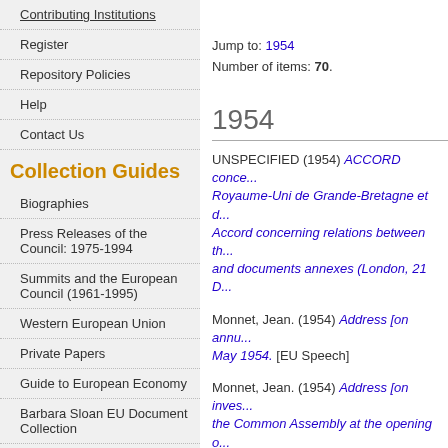Contributing Institutions
Register
Repository Policies
Help
Contact Us
Collection Guides
Biographies
Press Releases of the Council: 1975-1994
Summits and the European Council (1961-1995)
Western European Union
Private Papers
Guide to European Economy
Barbara Sloan EU Document Collection
Search and Browse
Jump to: 1954
Number of items: 70.
1954
UNSPECIFIED (1954) ACCORD conce... Royaume-Uni de Grande-Bretagne et d... Accord concerning relations between th... and documents annexes (London, 21 D...
Monnet, Jean. (1954) Address [on annu... May 1954. [EU Speech]
Monnet, Jean. (1954) Address [on inves... the Common Assembly at the opening o... French version. [EU Speech]
UNSPECIFIED (1954) Beginnings of the... [EU Other]